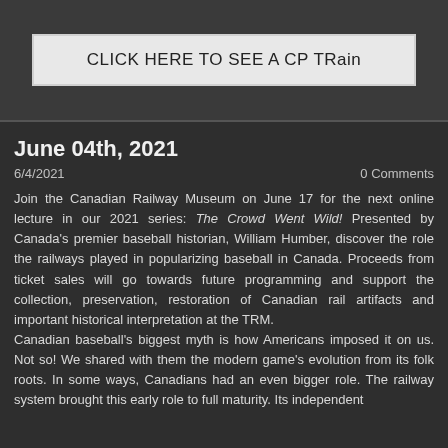[Figure (other): Button/link element with text 'CLICK HERE TO SEE A CP TRain' on a light grey background]
June 04th, 2021
6/4/2021	0 Comments
Join the Canadian Railway Museum on June 17 for the next online lecture in our 2021 series: The Crowd Went Wild! Presented by Canada's premier baseball historian, William Humber, discover the role the railways played in popularizing baseball in Canada. Proceeds from ticket sales will go towards future programming and support the collection, preservation, restoration of Canadian rail artifacts and important historical interpretation at the TRM. Canadian baseball's biggest myth is how Americans imposed it on us. Not so! We shared with them the modern game's evolution from its folk roots. In some ways, Canadians had an even bigger role. The railway system brought this early role to full maturity. Its independent